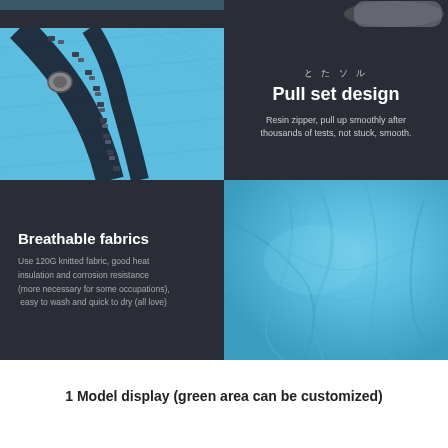[Figure (photo): Product feature image grid showing zipper close-up (blue fabric with dark zipper), Pull set design info panel, Breathable fabrics info panel, and blue fabric texture close-up]
1 Model display (green area can be customized)